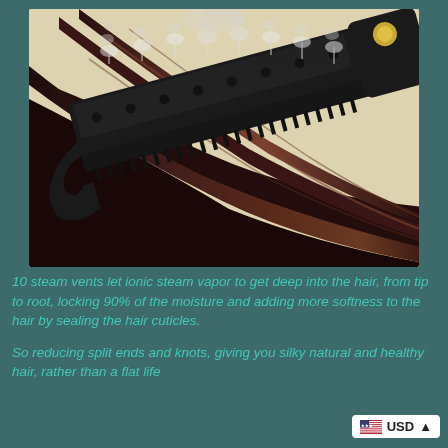[Figure (photo): A black steam hair straightener brush with multiple steam vents emitting white steam vapor, pressed against a section of smooth dark brown hair on a light beige background. The brush has a gold accent on the handle.]
10 steam vents let ionic steam vapor to get deep into the hair, from tip to root, locking 90% of the moisture and adding more softness to the hair by sealing the hair cuticles.
So reducing split ends and knots, giving you silky natural and healthy hair, rather than a flat lifeless like some others devices.